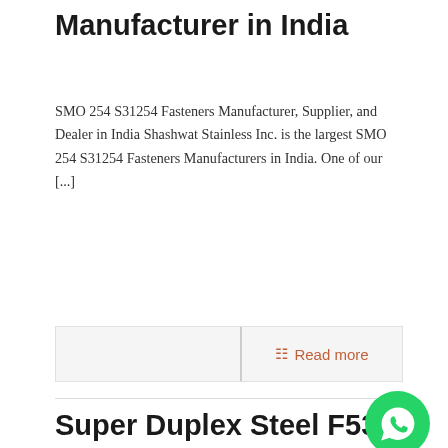Manufacturer in India
SMO 254 S31254 Fasteners Manufacturer, Supplier, and Dealer in India Shashwat Stainless Inc. is the largest SMO 254 S31254 Fasteners Manufacturers in India. One of our [...]
Read more
Super Duplex Steel F53 Fasteners Manufacturer in India
Super Duplex Steel F53 Fasteners Manufacturer, Supplier, and Dealer in India Shashwat Stainless Inc. is the largest Super Duplex Steel F53 Fasteners Manufacturers in India. Super [...]